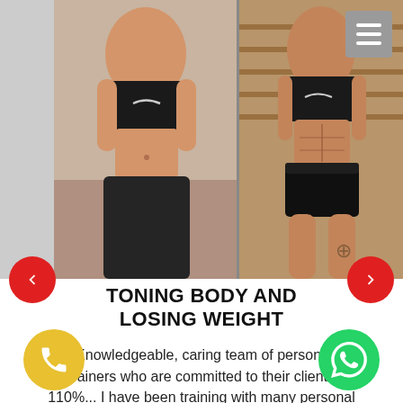[Figure (photo): Before and after transformation photos of a woman showing body toning and weight loss. Left photo shows 'before' with fuller physique in black Nike sports bra and black shorts. Right photo shows 'after' with leaner, more toned physique in black Nike sports bra and black lace underwear.]
TONING BODY AND LOSING WEIGHT
"Knowledgeable, caring team of personal trainers who are committed to their clients 110%... I have been training with many personal trainers